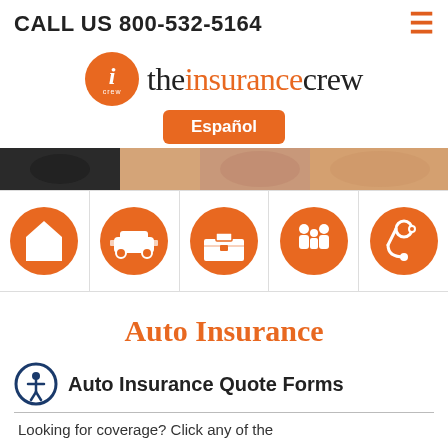CALL US 800-532-5164
[Figure (logo): The Insurance Crew logo with orange circle containing italic 'i' and 'crew', followed by text 'theinsurancecrew']
Español
[Figure (photo): Hero banner image showing people's faces/smiles]
[Figure (infographic): Five orange circle icon buttons: home/house insurance, auto/car insurance, briefcase/business insurance, family insurance, health/stethoscope insurance]
Auto Insurance
Auto Insurance Quote Forms
Looking for coverage? Click any of the